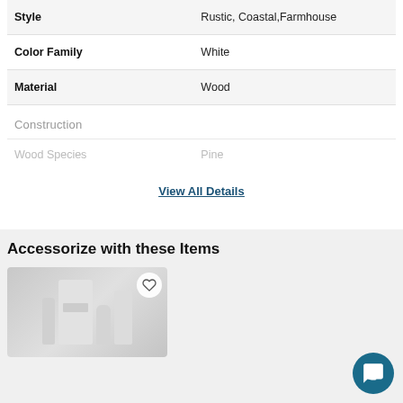| Attribute | Value |
| --- | --- |
| Style | Rustic, Coastal,Farmhouse |
| Color Family | White |
| Material | Wood |
Construction
| Attribute | Value |
| --- | --- |
| Wood Species | Pine |
View All Details
Accessorize with these Items
[Figure (photo): Product photo showing white cosmetic/skincare bottles and packaging on a gray background, with a heart/wishlist button overlay]